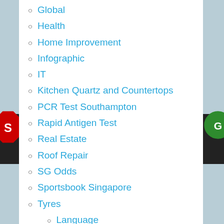Global
Health
Home Improvement
Infographic
IT
Kitchen Quartz and Countertops
PCR Test Southampton
Rapid Antigen Test
Real Estate
Roof Repair
SG Odds
Sportsbook Singapore
Tyres
Language
DE
FI
FR
NO
PL